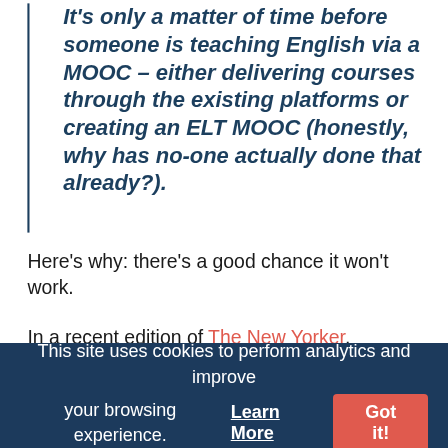It's only a matter of time before someone is teaching English via a MOOC – either delivering courses through the existing platforms or creating an ELT MOOC (honestly, why has no-one actually done that already?).
Here's why: there's a good chance it won't work.
In a recent edition of The New Yorker,
This site uses cookies to perform analytics and improve your browsing experience. Learn More Got it!